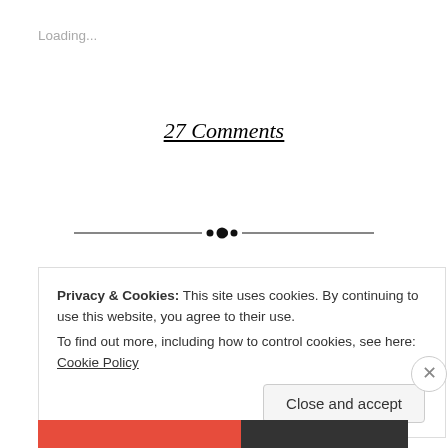Loading...
27 Comments
[Figure (illustration): Decorative horizontal divider with ornamental dots in the center]
Privacy & Cookies: This site uses cookies. By continuing to use this website, you agree to their use.
To find out more, including how to control cookies, see here: Cookie Policy
Close and accept